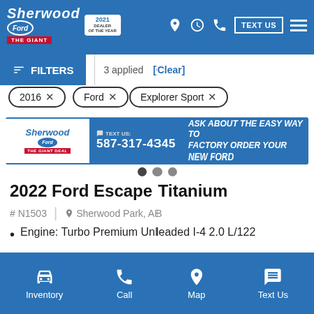[Figure (screenshot): Sherwood Ford dealership website header with logo, dealer of the year badge, navigation icons, TEXT US button, and hamburger menu on blue background]
FILTERS | 3 applied [Clear]
2016 ×
Ford ×
Explorer Sport ×
[Figure (screenshot): Sherwood Ford banner ad: logo on left, TEXT US: 587-317-4345 in center, ASK ABOUT THE EASY WAY TO FACTORY ORDER YOUR NEW FORD on right]
2022 Ford Escape Titanium
# N1503 | Sherwood Park, AB
Engine: Turbo Premium Unleaded I-4 2.0 L/122
Inventory | Call | Map | Text Us